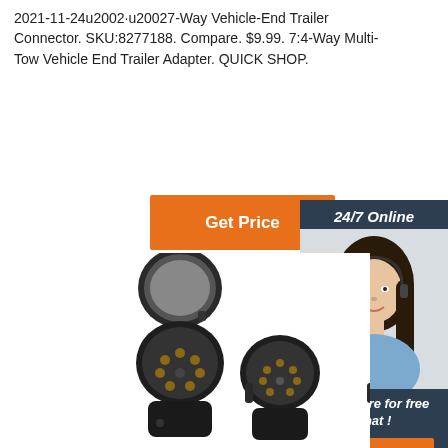2021-11-24u2002·u20027-Way Vehicle-End Trailer Connector. SKU:8277188. Compare. $9.99. 7:4-Way Multi-Tow Vehicle End Trailer Adapter. QUICK SHOP.
[Figure (other): Orange 'Get Price' button]
[Figure (photo): 24/7 Online customer service representative sidebar with headset-wearing woman, 'Click here for free chat!' text, and orange QUOTATION button]
[Figure (photo): Product photo of 7-way trailer connectors - two circular trailer socket connectors shown, one open and one closed]